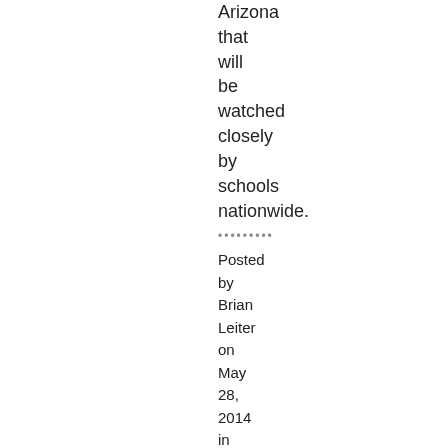Arizona that will be watched closely by schools nationwide.
......... Posted by Brian Leiter on May 28, 2014 in Legal Profession, Of Academic Interest | Permalink
May 27, 2014
Law professors